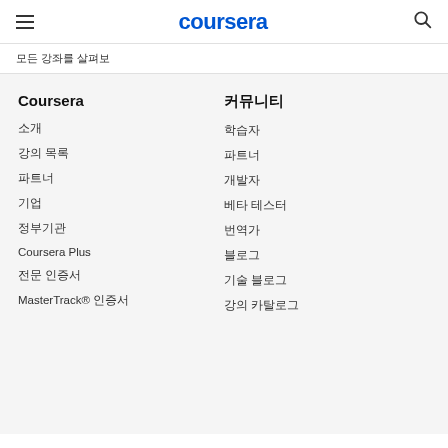coursera
모든 강좌를 살펴보
Coursera
커뮤니티
소개
학습자
파트너
개발자
베타 테스터
번역가
소개 소개
소개 소개
강의 목록
Coursera Plus
전문 인증서
MasterTrack® 인증서
학위
기업용
정부용
캠퍼스
기술 블로그